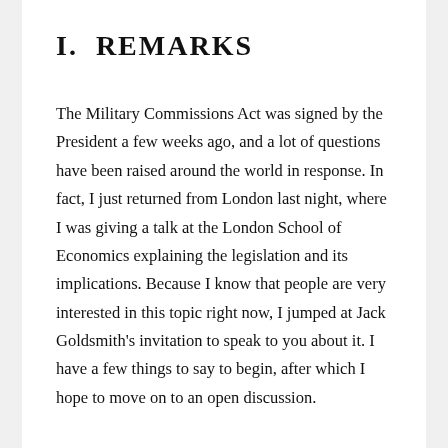I.  REMARKS
The Military Commissions Act was signed by the President a few weeks ago, and a lot of questions have been raised around the world in response. In fact, I just returned from London last night, where I was giving a talk at the London School of Economics explaining the legislation and its implications. Because I know that people are very interested in this topic right now, I jumped at Jack Goldsmith's invitation to speak to you about it. I have a few things to say to begin, after which I hope to move on to an open discussion.